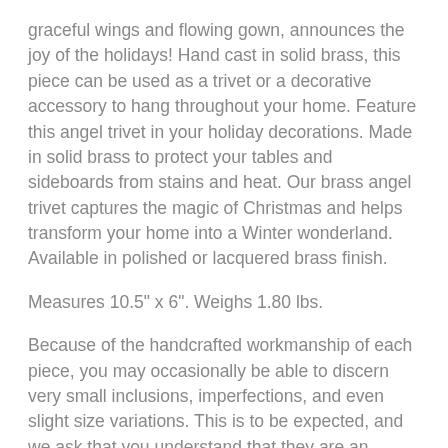graceful wings and flowing gown, announces the joy of the holidays! Hand cast in solid brass, this piece can be used as a trivet or a decorative accessory to hang throughout your home. Feature this angel trivet in your holiday decorations. Made in solid brass to protect your tables and sideboards from stains and heat. Our brass angel trivet captures the magic of Christmas and helps transform your home into a Winter wonderland. Available in polished or lacquered brass finish.
Measures 10.5" x 6". Weighs 1.80 lbs.
Because of the handcrafted workmanship of each piece, you may occasionally be able to discern very small inclusions, imperfections, and even slight size variations. This is to be expected, and we ask that you understand that they are an inherent part of the manufacturing process. Our products are solid brass, and we believe they are the best that can be made today. They sell themselves...just pick one up. Feeling is believing! If you receive one that has a slight